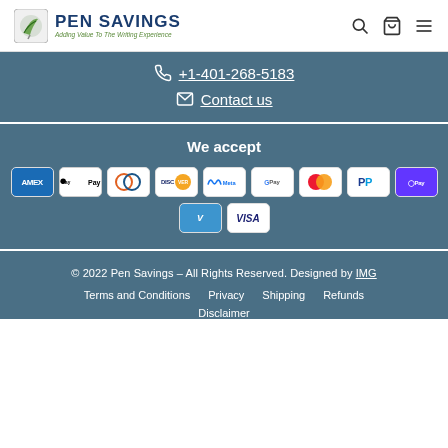Pen Savings - Adding Value To The Writing Experience
+1-401-268-5183
Contact us
We accept
[Figure (other): Payment method logos: AMEX, Apple Pay, Diners Club, Discover, Meta Pay, Google Pay, Mastercard, PayPal, Samsung Pay, Venmo, Visa]
© 2022 Pen Savings – All Rights Reserved. Designed by IMG
Terms and Conditions   Privacy   Shipping   Refunds   Disclaimer